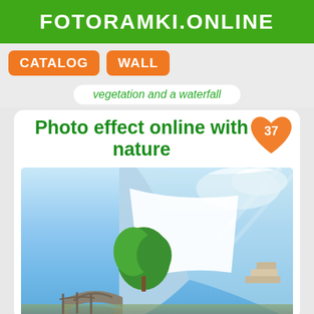FOTORAMKI.ONLINE
CATALOG
WALL
vegetation and a waterfall
Photo effect online with nature
[Figure (illustration): A decorative photo frame template with a nature scene: stone bridge, green tree, waterfall, pagoda steps, and blue sky. The frame has a peeling/curling page effect with a white space for inserting a photo. An orange heart badge shows the number 37.]